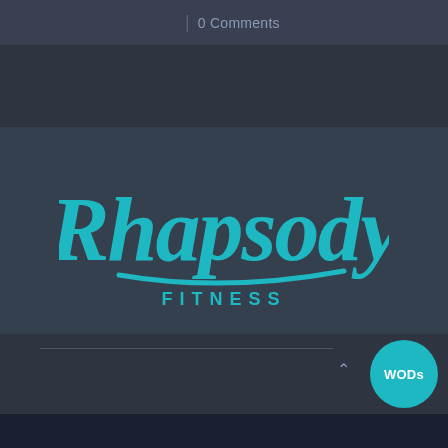| 0 Comments
[Figure (logo): Rhapsody Fitness logo: 'Rhapsody' in large teal cursive script with an underline swoosh, and 'FITNESS' in teal spaced caps below]
WODs